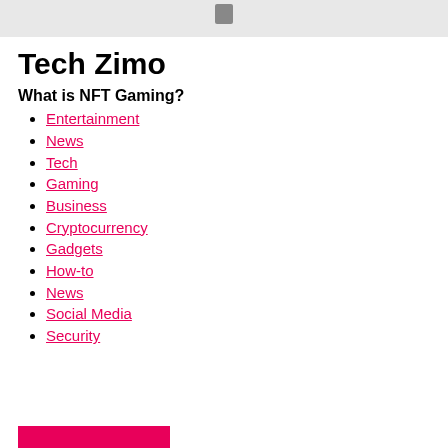[Figure (photo): Gray banner area with a small dark icon/logo at the top]
Tech Zimo
What is NFT Gaming?
Entertainment
News
Tech
Gaming
Business
Cryptocurrency
Gadgets
How-to
News
Social Media
Security